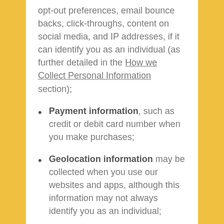opt-out preferences, email bounce backs, click-throughs, content on social media, and IP addresses, if it can identify you as an individual (as further detailed in the How we Collect Personal Information section);
Payment information, such as credit or debit card number when you make purchases;
Geolocation information may be collected when you use our websites and apps, although this information may not always identify you as an individual;
Information collected through technologies in our stores, including